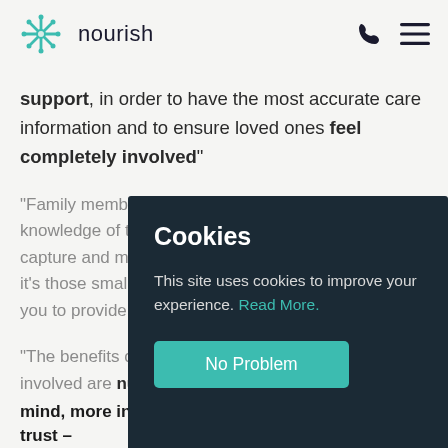nourish
support, in order to have the most accurate care information and to ensure loved ones feel completely involved"
"Family members knowledge of the capture and mo... e it's those smalle... you to provide t...
"The benefits of... involved are nu... mind, more informed care delivery, transparency, trust –
[Figure (screenshot): Cookie consent modal overlay with dark background (#1a2530) containing title 'Cookies', body text 'This site uses cookies to improve your experience. Read More.', and a teal 'No Problem' button. A teal circular search icon appears in the bottom right corner.]